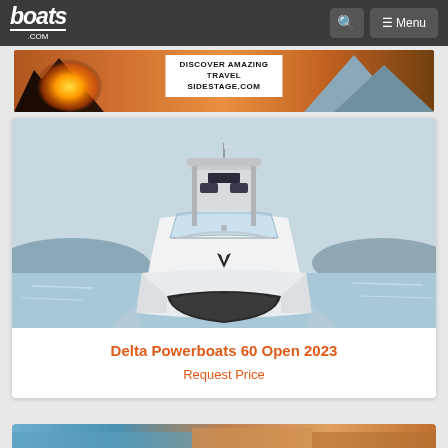boats.com
[Figure (photo): Advertisement banner showing a sunset over mountains with text DISCOVER AMAZING TRAVEL SIDESTAGE.COM]
[Figure (photo): Front view of Delta Powerboats 60 Open 2023 yacht on water, white hull, flying bridge with seats, calm sea and hills in background]
Delta Powerboats 60 Open 2023
Request Price